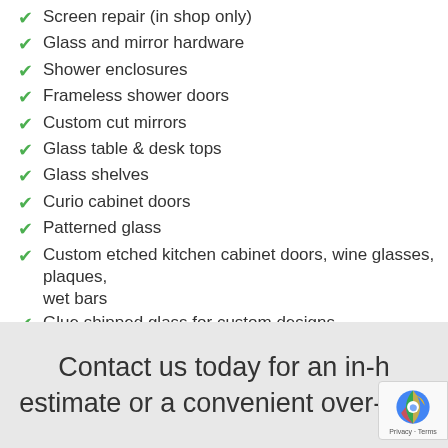Screen repair (in shop only)
Glass and mirror hardware
Shower enclosures
Frameless shower doors
Custom cut mirrors
Glass table & desk tops
Glass shelves
Curio cabinet doors
Patterned glass
Custom etched kitchen cabinet doors, wine glasses, plaques, wet bars
Glue shipped glass for custom designs
Contact us today for an in-home estimate or a convenient over-the-